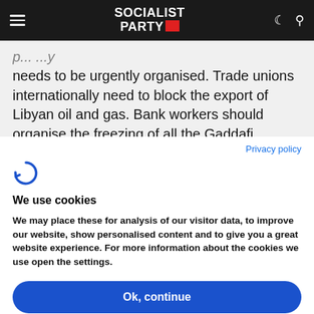Socialist Party [logo]
needs to be urgently organised. Trade unions internationally need to block the export of Libyan oil and gas. Bank workers should organise the freezing of all the Gaddafi regime's financial assets.
Privacy policy
[Figure (logo): Cookiebot logo - circular arrow icon in blue]
We use cookies
We may place these for analysis of our visitor data, to improve our website, show personalised content and to give you a great website experience. For more information about the cookies we use open the settings.
Ok, continue
Deny
No, adjust